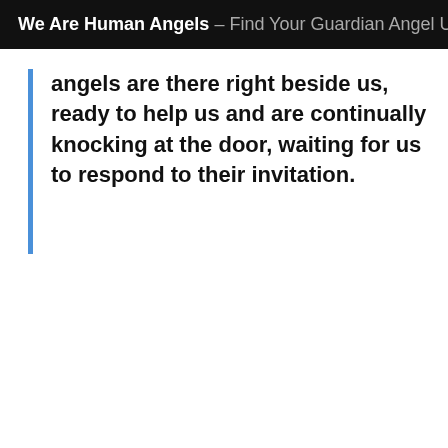We Are Human Angels – Find Your Guardian Angel Usi
angels are there right beside us, ready to help us and are continually knocking at the door, waiting for us to respond to their invitation.